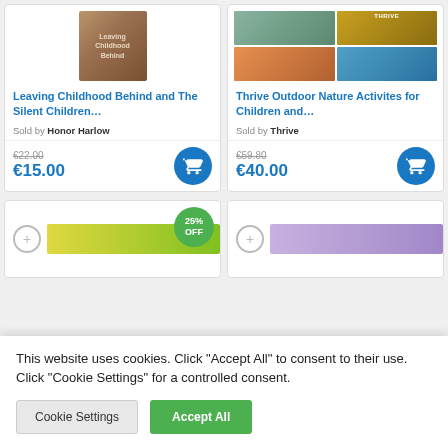[Figure (screenshot): Product card for 'Leaving Childhood Behind and The Silent Children...' - book cover image shown]
Leaving Childhood Behind and The Silent Children...
Sold by Honor Harlow
€22.00 (strikethrough) €15.00
[Figure (screenshot): Product card for 'Thrive Outdoor Nature Activites for Children and...' - grid of 4 book covers shown]
Thrive Outdoor Nature Activites for Children and...
Sold by Thrive
€59.80 (strikethrough) €40.00
[Figure (screenshot): Partial product card with yellow/green bar and 25% OFF badge]
[Figure (screenshot): Partial product card with purple bar]
This website uses cookies. Click "Accept All" to consent to their use. Click "Cookie Settings" for a controlled consent.
Cookie Settings
Accept All